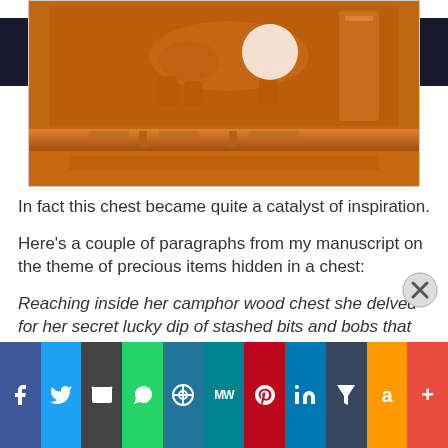[Figure (photo): Close-up of carved wooden chest with relief carvings, warm orange-brown wood tones]
In fact this chest became quite a catalyst of inspiration.
Here's a couple of paragraphs from my manuscript on the theme of precious items hidden in a chest:
Reaching inside her camphor wood chest she delved for her secret lucky dip of stashed bits and bobs that she kept away from the prying eyes of her parents. Inside the chest were crystal books, pretty little stones, trinkets, a tattoo henna kit, and her much loved drum sticks. She placed her
Advertisements
[Figure (screenshot): Advertisements banner showing 'Opinions.' text on dark background with circular logo]
[Figure (infographic): Social sharing bar with icons: Facebook, Twitter, Email, WhatsApp, WordPress, MeWe, Pinterest, LinkedIn, Tumblr, Amazon, More]